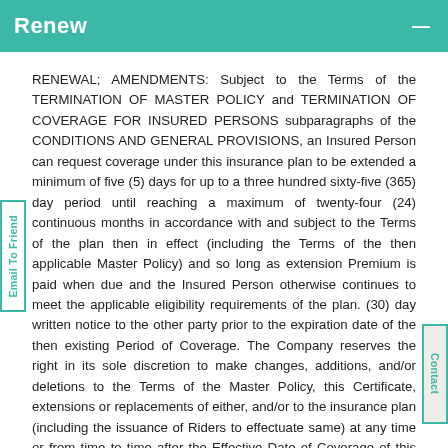Renew
RENEWAL; AMENDMENTS: Subject to the Terms of the TERMINATION OF MASTER POLICY and TERMINATION OF COVERAGE FOR INSURED PERSONS subparagraphs of the CONDITIONS AND GENERAL PROVISIONS, an Insured Person can request coverage under this insurance plan to be extended a minimum of five (5) days for up to a three hundred sixty-five (365) day period until reaching a maximum of twenty-four (24) continuous months in accordance with and subject to the Terms of the plan then in effect (including the Terms of the then applicable Master Policy) and so long as extension Premium is paid when due and the Insured Person otherwise continues to meet the applicable eligibility requirements of the plan. (30) day written notice to the other party prior to the expiration date of the then existing Period of Coverage. The Company reserves the right in its sole discretion to make changes, additions, and/or deletions to the Terms of the Master Policy, this Certificate, extensions or replacements of either, and/or to the insurance plan (including the issuance of Riders to effectuate same) at any time or from time to time after the Effective Date of Coverage of this Certificate, upon no less than thirty (30) days prior written